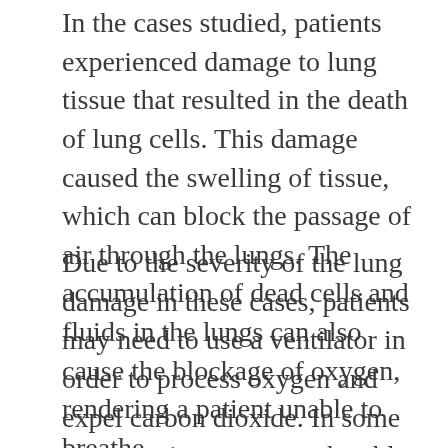In the cases studied, patients experienced damage to lung tissue that resulted in the death of lung cells. This damage caused the swelling of tissue, which can block the passage of air through the lungs. The accumulation of dead cells and fluids in the lungs can also cause the blockage of oxygen, rendering a patient unable to breathe.
Due to the severity of the lung damage in these cases, patients may need to use a ventilator in order to process oxygen and expel carbon dioxide. In some cases, patients may not be able to recover full function in their lungs, and it is likely that people will experience chronic respiratory problems.
As investigators have looked into the outbreak of lung illness, one concern they raised was the